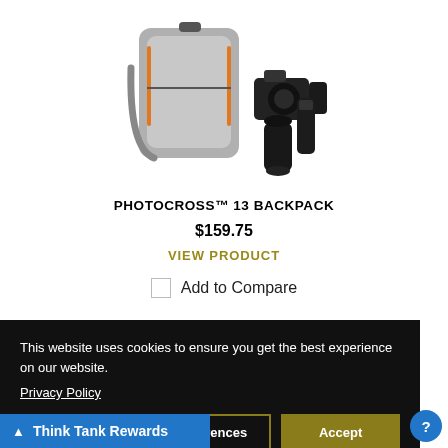[Figure (photo): Photocross 13 backpack (gray/orange) with a DSLR camera body and two camera lenses displayed beside it on a white background]
PHOTOCROSS™ 13 BACKPACK
$159.75
VIEW PRODUCT
Add to Compare
This website uses cookies to ensure you get the best experience on our website.
Privacy Policy
Close
Preferences
Accept
Think Tank Rewards